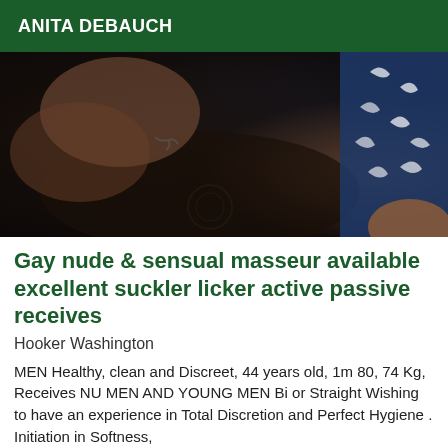ANITA DEBAUCH
[Figure (photo): Dark close-up photograph showing people, dark fabric with emblem visible, blue patterned fabric on right side]
Gay nude & sensual masseur available excellent suckler licker active passive receives
Hooker Washington
MEN Healthy, clean and Discreet, 44 years old, 1m 80, 74 Kg, Receives NU MEN AND YOUNG MEN Bi or Straight Wishing to have an experience in Total Discretion and Perfect Hygiene . Initiation in Softness,